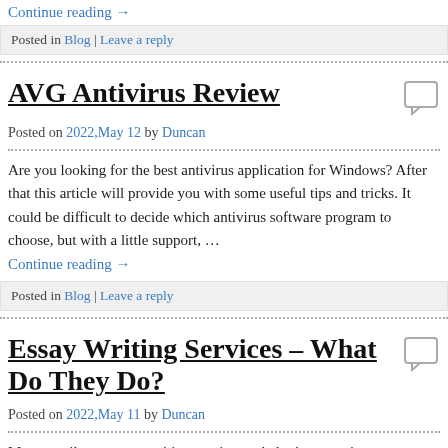Continue reading →
Posted in Blog | Leave a reply
AVG Antivirus Review
Posted on 2022,May 12 by Duncan
Are you looking for the best antivirus application for Windows? After that this article will provide you with some useful tips and tricks. It could be difficult to decide which antivirus software program to choose, but with a little support, …
Continue reading →
Posted in Blog | Leave a reply
Essay Writing Services – What Do They Do?
Posted on 2022,May 11 by Duncan
Many pupils use essay writing services to help them receive